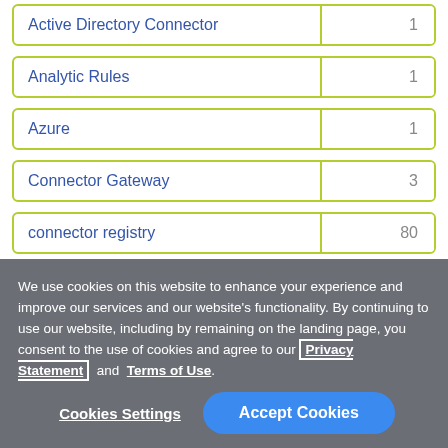| Item | Count |
| --- | --- |
| Active Directory Connector | 1 |
| Analytic Rules | 1 |
| Azure | 1 |
| Connector Gateway | 3 |
| connector registry | 80 |
We use cookies on this website to enhance your experience and improve our services and our website's functionality. By continuing to use our website, including by remaining on the landing page, you consent to the use of cookies and agree to our Privacy Statement and Terms of Use.